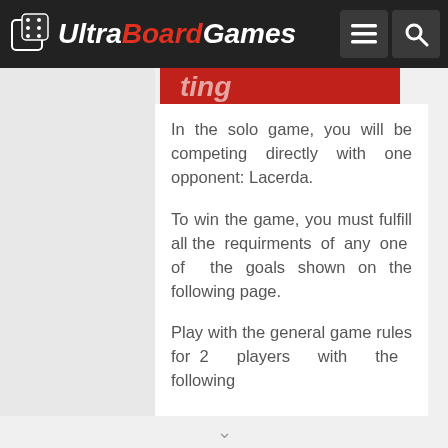UltraBoardGames
[Figure (screenshot): Partially visible red banner/image at the top of the content area]
In the solo game, you will be competing directly with one opponent: Lacerda.
To win the game, you must fulfill all the requirments of any one of the goals shown on the following page.
Play with the general game rules for 2 players with the following